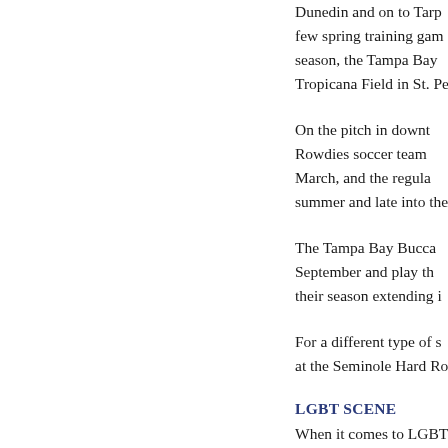Dunedin and on to Tarp... few spring training gam... season, the Tampa Bay... Tropicana Field in St. Pe...
On the pitch in downt... Rowdies soccer team... March, and the regula... summer and late into the...
The Tampa Bay Bucca... September and play th... their season extending i...
For a different type of s... at the Seminole Hard Ro...
LGBT SCENE
When it comes to LGBT... Clearwater communities... their doors and arms to...